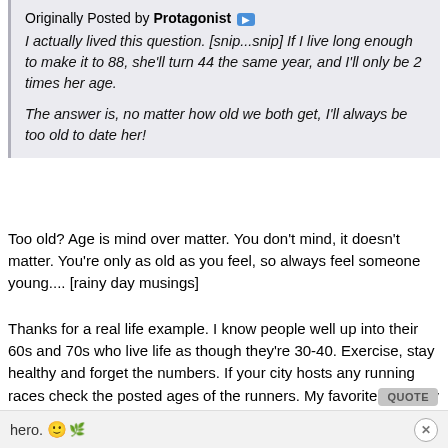Originally Posted by Protagonist ▶
I actually lived this question. [snip...snip] If I live long enough to make it to 88, she'll turn 44 the same year, and I'll only be 2 times her age.

The answer is, no matter how old we both get, I'll always be too old to date her!
Too old? Age is mind over matter. You don't mind, it doesn't matter. You're only as old as you feel, so always feel someone young.... [rainy day musings]
Thanks for a real life example. I know people well up into their 60s and 70s who live life as though they're 30-40. Exercise, stay healthy and forget the numbers. If your city hosts any running races check the posted ages of the runners. My favorite category is 75 and over, especially when their times are considerably lower than mine. They call it being "geezered", passed by someone much older than you. The oldest I've seen is early 80s, but there are newspaper articles about people 100+ running marathons. A guy in England ran half the marathon, stopped for a pint and a smoke, then finished the race. My
hero. 🙂